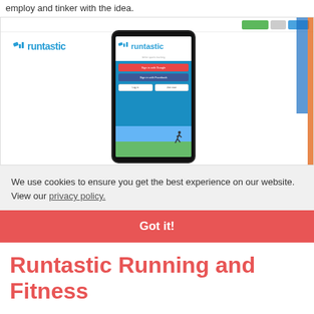employ and tinker with the idea.
[Figure (screenshot): Screenshot of the Runtastic website showing a phone mockup with the Runtastic app login screen, with browser toolbar buttons and the Runtastic logo visible.]
We use cookies to ensure you get the best experience on our website. View our privacy policy.
Got it!
Runtastic Running and Fitness